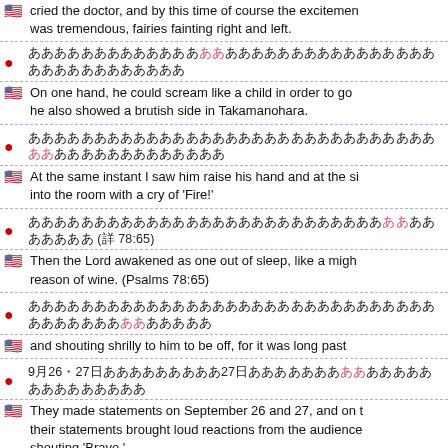[US flag] cried the doctor, and by this time of course the excitement was tremendous, fairies fainting right and left.
[JP flag] Japanese text (Japanese characters with pink highlights)
[US flag] On one hand, he could scream like a child in order to go he also showed a brutish side in Takamanohara.
[JP flag] Japanese text with pink highlights
[US flag] At the same instant I saw him raise his hand and at the si into the room with a cry of 'Fire!'
[JP flag] Japanese text with pink highlights (詩 78:65)
[US flag] Then the Lord awakened as one out of sleep, like a mighty reason of wine. (Psalms 78:65)
[JP flag] Japanese text with pink highlights
[US flag] and shouting shrilly to him to be off, for it was long past
[JP flag] 9月26・27日 Japanese text with pink highlights
[US flag] They made statements on September 26 and 27, and on t their statements brought loud reactions from the audience shouting 'Bravo.'